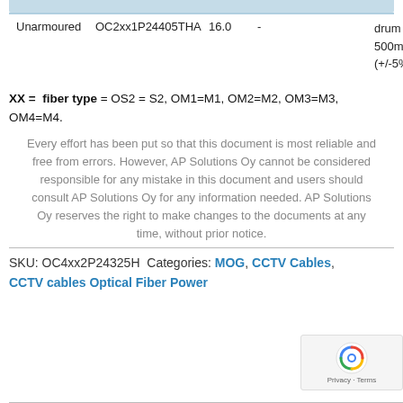| Unarmoured | OC2xx1P24405THA | 16.0 | - |  | drum
500m
(+/-5%) |
XX = fiber type = OS2 = S2, OM1=M1, OM2=M2, OM3=M3, OM4=M4.
Every effort has been put so that this document is most reliable and free from errors. However, AP Solutions Oy cannot be considered responsible for any mistake in this document and users should consult AP Solutions Oy for any information needed. AP Solutions Oy reserves the right to make changes to the documents at any time, without prior notice.
SKU: OC4xx2P24325H Categories: MOG, CCTV Cables, CCTV cables Optical Fiber Power